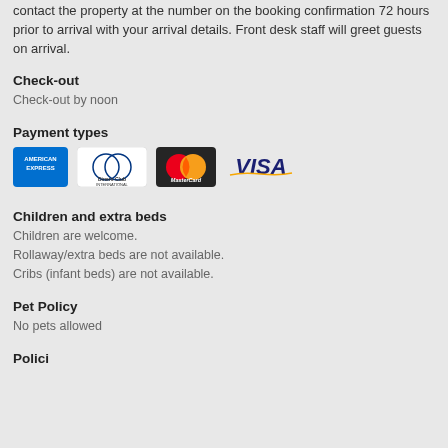contact the property at the number on the booking confirmation 72 hours prior to arrival with your arrival details. Front desk staff will greet guests on arrival.
Check-out
Check-out by noon
Payment types
[Figure (logo): Payment type logos: American Express, Diners Club International, MasterCard, VISA]
Children and extra beds
Children are welcome.
Rollaway/extra beds are not available.
Cribs (infant beds) are not available.
Pet Policy
No pets allowed
Policies